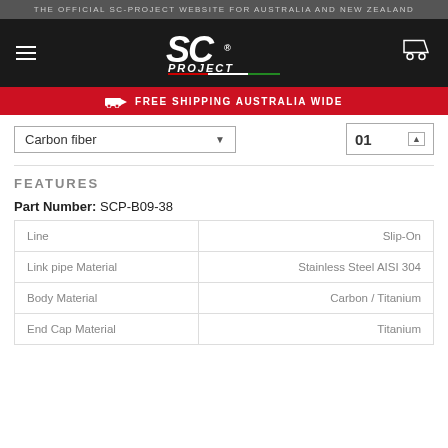THE OFFICIAL SC-PROJECT WEBSITE FOR AUSTRALIA AND NEW ZEALAND
[Figure (logo): SC-Project logo with Italian flag stripe and tagline]
FREE SHIPPING AUSTRALIA WIDE
Carbon fiber
01
FEATURES
Part Number: SCP-B09-38
| Property | Value |
| --- | --- |
| Line | Slip-On |
| Link pipe Material | Stainless Steel AISI 304 |
| Body Material | Carbon / Titanium |
| End Cap Material | Titanium |